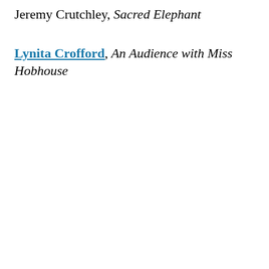Jeremy Crutchley, Sacred Elephant
Lynita Crofford, An Audience with Miss Hobhouse